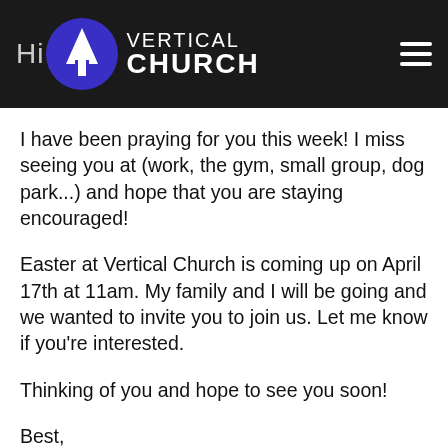Hi_ Vertical Church
I have been praying for you this week! I miss seeing you at (work, the gym, small group, dog park...) and hope that you are staying encouraged!
Easter at Vertical Church is coming up on April 17th at 11am. My family and I will be going and we wanted to invite you to join us. Let me know if you're interested.
Thinking of you and hope to see you soon!
Best,